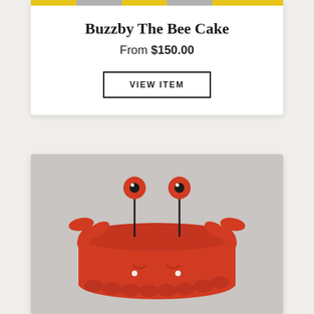[Figure (photo): Partial view of Buzzby The Bee Cake — yellow and grey striped decoration at the top of a product card]
Buzzby The Bee Cake
From $150.00
VIEW ITEM
[Figure (photo): Red fondant crab-shaped celebration cake with googly eyes on sticks, crab claws, and scalloped edges, photographed on a grey background]